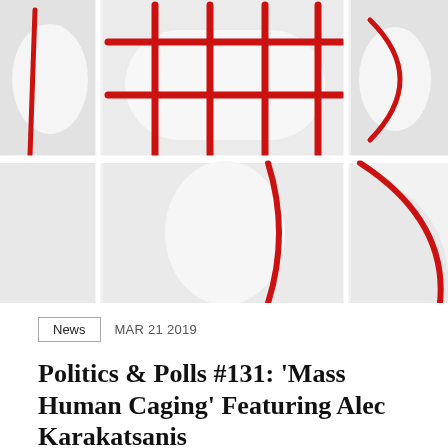[Figure (photo): Grid of 6 image cells showing white rounded objects/shapes with red line markings against light gray backgrounds. Top row: 3 cells; bottom row: 3 cells.]
News   MAR 21 2019
Politics & Polls #131: 'Mass Human Caging' Featuring Alec Karakatsanis
There are unprecedented rates of incarceration in America today, with hundreds of thousands of people being jailed annually. How does the...
[Figure (photo): Partial bottom image showing a yellow background with a person and what appears to be chess pieces.]